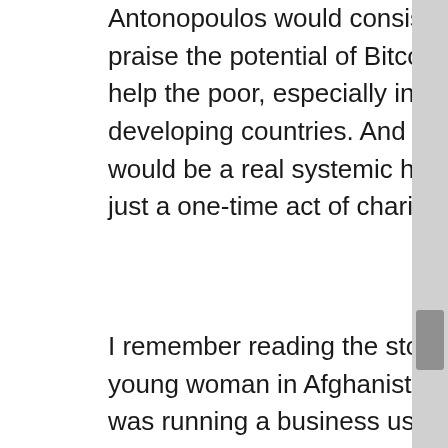Antonopoulos would consistently praise the potential of Bitcoin to help the poor, especially in developing countries. And this would be a real systemic help, not just a one-time act of charity.
I remember reading the story of a young woman in Afghanistan who was running a business using Bitcoin. What made this remarkable was that in her culture, a woman's finances were required to be controlled by a male member of her family, such as her father or her uncle. But Bitcoin allowed this young woman financial independence, which gave her freedom to lift herself out of poverty.